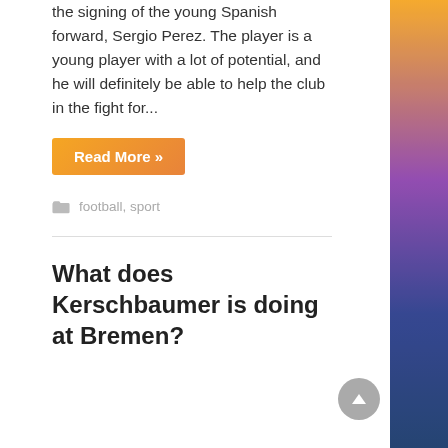the signing of the young Spanish forward, Sergio Perez. The player is a young player with a lot of potential, and he will definitely be able to help the club in the fight for...
Read More »
football, sport
What does Kerschbaumer is doing at Bremen?